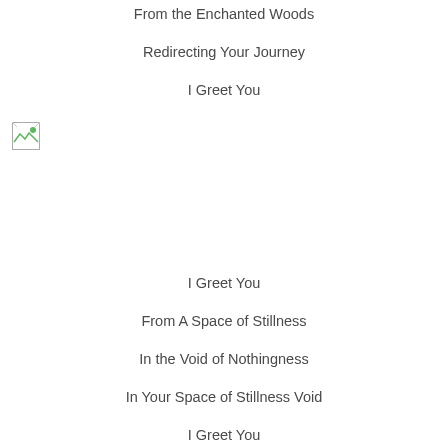From the Enchanted Woods
Redirecting Your Journey
I Greet You
[Figure (photo): Small broken/missing image icon in the upper left area]
I Greet You
From A Space of Stillness
In the Void of Nothingness
In Your Space of Stillness Void
I Greet You